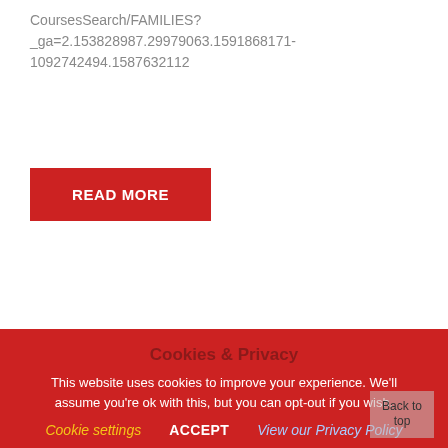CoursesSearch/FAMILIES?_ga=2.153828987.29979063.1591868171-1092742494.1587632112
READ MORE
April 30, 2020  KS1, KS2  by
Balloon cars and more...
Cookies & Privacy
This website uses cookies to improve your experience. We'll assume you're ok with this, but you can opt-out if you wish.
Cookie settings  ACCEPT  View our Privacy Policy
Back to top